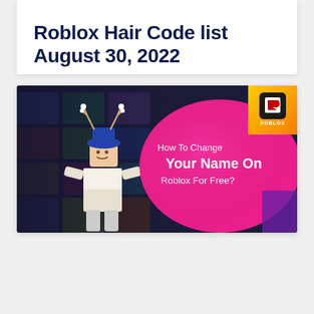Roblox Hair Code list August 30, 2022
[Figure (screenshot): A Roblox promotional image showing a Roblox character with antler headgear and blue hat on a dark blurred background. On the right side is a pink/magenta oval shape with text 'How To Change Your Name On Roblox For Free?' and the Roblox logo in the top right corner against an orange/yellow background.]